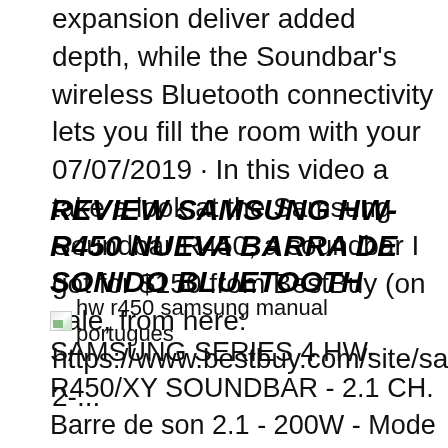expansion deliver added depth, while the Soundbar's wireless Bluetooth connectivity lets you fill the room with your 07/07/2019 · In this video a take a look at the Samsung Soundbar R450, a soundbar I got for $150 from BestBuy (on sale, from here: https://www.bestbuy.com/site/samsung-2-...
REVIEW SAMSUNG HW-R450 NUEVA BARRA DE SONIDO BLUETOOTH
[Figure (photo): Broken image placeholder with alt text: hw r450 samsung manual portugues]
SAMSUNG SERIES 4 HW-R450/XY SOUNDBAR - 2.1 CH. Barre de son 2.1 - 200W - Mode Gaming - Bluetooth - HW-R450 . Solutions et Astuces, Télécharger le manuel, Contactez-nous.